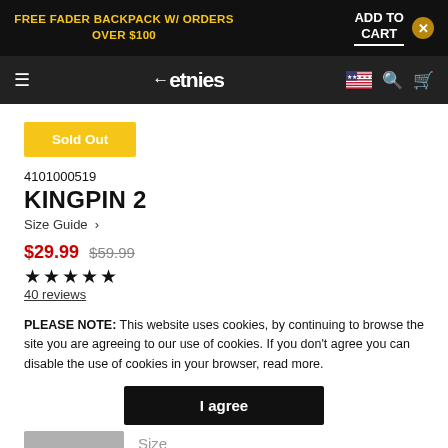FREE FADER BACKPACK W/ ORDERS OVER $100
etnies
[Figure (logo): Sold Out yellow button]
4101000519
KINGPIN 2
Size Guide >
$29.99  $59.99
★★★★★
40 reviews
PLEASE NOTE: This website uses cookies, by continuing to browse the site you are agreeing to our use of cookies. If you don't agree you can disable the use of cookies in your browser, read more.
I agree
BLACK CAMO
Size